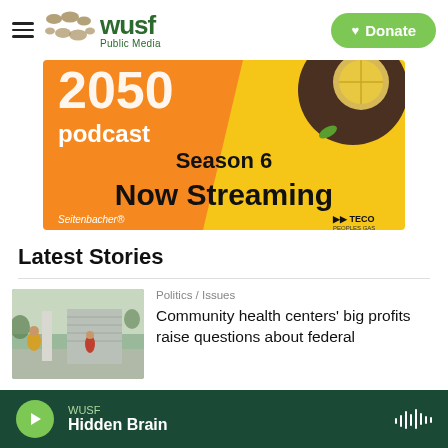WUSF Public Media — Donate
[Figure (advertisement): Podcast advertisement banner showing '2050 podcast Season 6 Now Streaming' with orange and yellow background, lemon/citrus imagery, Seitenbacher and TECO Peoples Gas logos]
Latest Stories
[Figure (photo): Outdoor photo showing people near a building with columns]
Politics / Issues
Community health centers' big profits raise questions about federal
WUSF — Hidden Brain